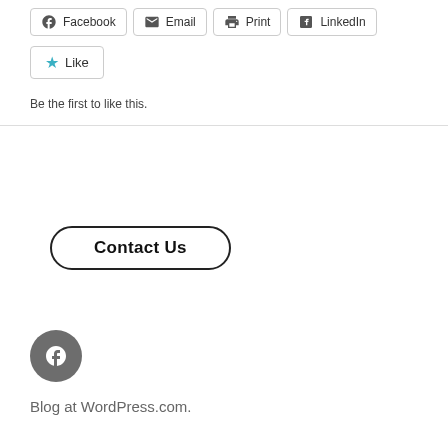[Figure (other): Social share buttons row: Facebook, Email, Print, LinkedIn]
[Figure (other): Like button with star icon]
Be the first to like this.
Contact Us
[Figure (other): Facebook circle icon (grey)]
Blog at WordPress.com.